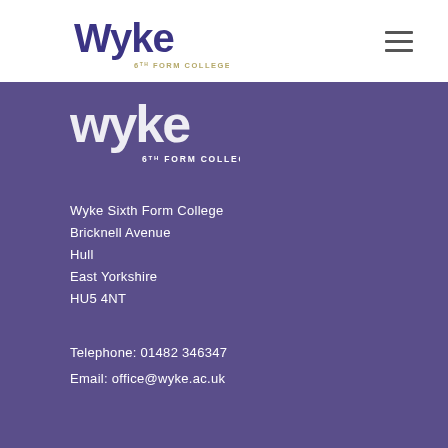[Figure (logo): Wyke 6th Form College logo in dark purple/navy on white background, top header area]
[Figure (logo): Wyke 6th Form College logo in white on purple background, large version in purple footer section]
Wyke Sixth Form College
Bricknell Avenue
Hull
East Yorkshire
HU5 4NT
Telephone: 01482 346347
Email: office@wyke.ac.uk